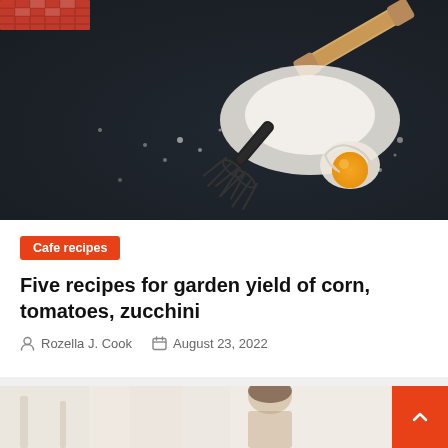[Figure (photo): Dark chalkboard background with baking ingredients: flour, a cracked egg with yolk visible, an egg mixer/whisk tool, a rolling pin, and a red checkered cloth napkin in the upper left corner.]
Cafe recipes
Five recipes for garden yield of corn, tomatoes, zucchini
Rozella J. Cook   August 23, 2022
[Figure (photo): Partial view of a second article card showing a light-colored kitchen scene with a person visible at the bottom of the image.]